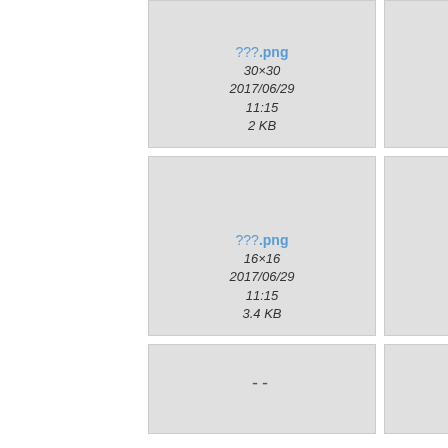[Figure (screenshot): File thumbnail card: ???.png, 30×30, 2017/06/29 11:15, 2 KB]
[Figure (screenshot): File thumbnail card: ??.png, 16×16, 2017/06/29 11:15, 2.8 KB]
[Figure (screenshot): File thumbnail card: ???.png, 16×16, 2017/06/29 11:15, 3.4 KB]
[Figure (screenshot): File thumbnail card: ???.png, 16×16, 2017/06/29 11:15, 3.3 KB]
[Figure (screenshot): File thumbnail card with two dots placeholder]
[Figure (screenshot): File thumbnail card with green plus circle icon]